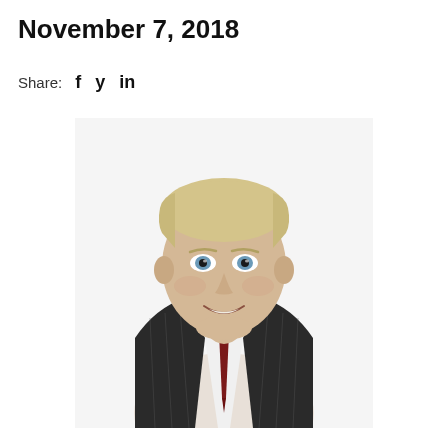November 7, 2018
Share: f y in
[Figure (photo): Professional headshot of a middle-aged man with short blonde/grey hair, blue eyes, smiling, wearing a dark pinstriped suit jacket, white shirt, and dark red tie. White background.]